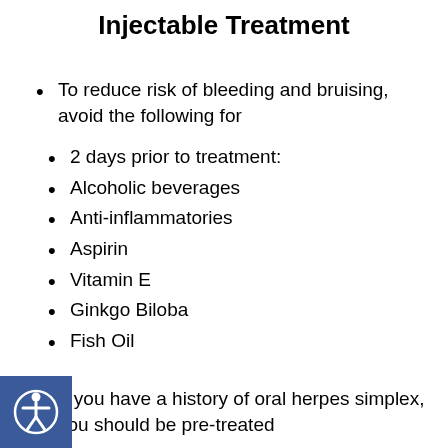Injectable Treatment
To reduce risk of bleeding and bruising, avoid the following for
2 days prior to treatment:
Alcoholic beverages
Anti-inflammatories
Aspirin
Vitamin E
Ginkgo Biloba
Fish Oil
If you have a history of oral herpes simplex, you should be pre-treated